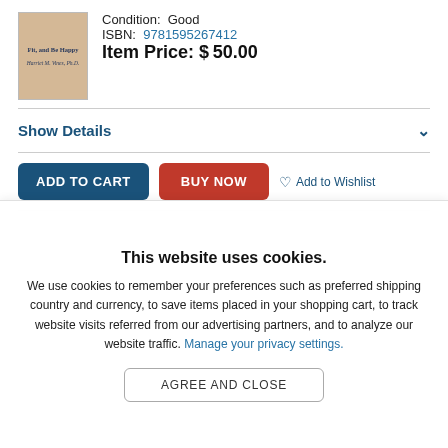[Figure (illustration): Book cover thumbnail with tan/brown background, title text 'Fit, and Be Happy' and author 'Harriet M. Vines, Ph.D.']
Condition: Good
ISBN: 9781595267412
Item Price: $50.00
Show Details
ADD TO CART
BUY NOW
Add to Wishlist
This website uses cookies.
We use cookies to remember your preferences such as preferred shipping country and currency, to save items placed in your shopping cart, to track website visits referred from our advertising partners, and to analyze our website traffic. Manage your privacy settings.
AGREE AND CLOSE